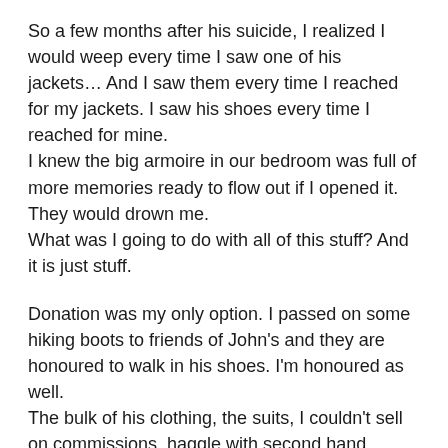So a few months after his suicide, I realized I would weep every time I saw one of his jackets… And I saw them every time I reached for my jackets. I saw his shoes every time I reached for mine.
I knew the big armoire in our bedroom was full of more memories ready to flow out if I opened it. They would drown me.
What was I going to do with all of this stuff? And it is just stuff.
Donation was my only option. I passed on some hiking boots to friends of John's and they are honoured to walk in his shoes. I'm honoured as well.
The bulk of his clothing, the suits, I couldn't sell on commissions, haggle with second hand stores ( that are almost all for women) … not for John's clothes. Couldn't do it. I also knew I could not abandon his clothes in a bin. These clothes were just too good for dropping off to the